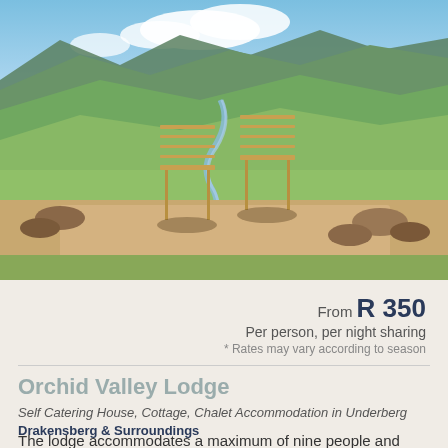[Figure (photo): Two wooden deck chairs on a stone patio overlooking a wide green valley with a winding river, rolling hills and mountains in the background under a blue sky with clouds.]
From R 350
Per person, per night sharing
* Rates may vary according to season
Orchid Valley Lodge
Self Catering House, Cottage, Chalet Accommodation in Underberg
Drakensberg & Surroundings
The lodge accommodates a maximum of nine people and